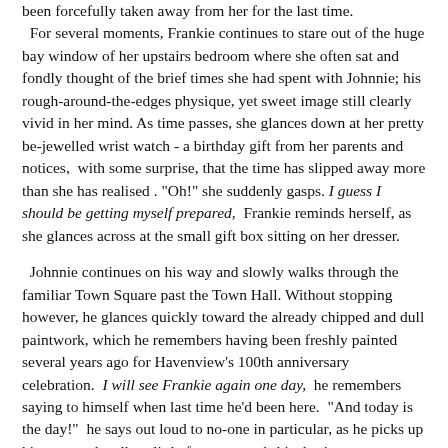been forcefully taken away from her for the last time.

  For several moments, Frankie continues to stare out of the huge bay window of her upstairs bedroom where she often sat and fondly thought of the brief times she had spent with Johnnie; his rough-around-the-edges physique, yet sweet image still clearly vivid in her mind. As time passes, she glances down at her pretty be-jewelled wrist watch - a birthday gift from her parents and notices,  with some surprise, that the time has slipped away more than she has realised . "Oh!" she suddenly gasps. I guess I should be getting myself prepared,  Frankie reminds herself, as she glances across at the small gift box sitting on her dresser.

  Johnnie continues on his way and slowly walks through the familiar Town Square past the Town Hall. Without stopping however, he glances quickly toward the already chipped and dull paintwork, which he remembers having been freshly painted several years ago for Havenview's 100th anniversary celebration.  I will see Frankie again one day,  he remembers saying to himself when last time he'd been here.  "And today is the day!"  he says out loud to no-one in particular, as he picks up his pace and walks a little faster towards his destiny.
  Johnnie notices some of the changes, which have taken place in his